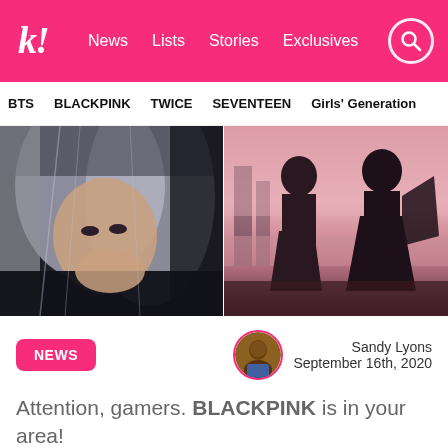k! News Lists Stories Exclusives
BTS  BLACKPINK  TWICE  SEVENTEEN  Girls' Generation
[Figure (photo): Left: Close-up of a woman with silver/grey hair and dark clothing holding hands near her face. Right: Silhouetted figures in dramatic clothing against a pink-toned background with industrial structures.]
NEWS   Sandy Lyons   September 16th, 2020
Attention, gamers. BLACKPINK is in your area!
[Figure (photo): Bottom strip partially visible — appears to be a game/promotional image with blue-grey tones.]